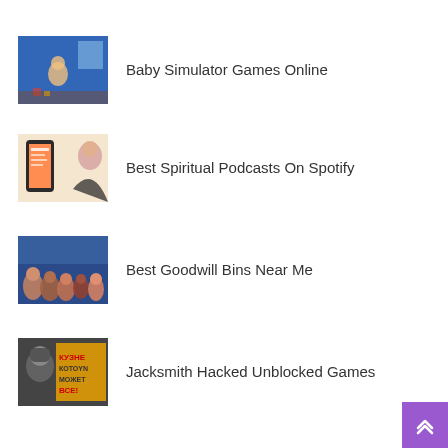[Figure (photo): Thumbnail image for Baby Simulator Games Online – animated baby in a blue room]
Baby Simulator Games Online
[Figure (photo): Thumbnail image for Best Spiritual Podcasts On Spotify – phone with podcast app and woman's face]
Best Spiritual Podcasts On Spotify
[Figure (photo): Thumbnail image for Best Goodwill Bins Near Me – crowd of people shopping at bins]
Best Goodwill Bins Near Me
[Figure (photo): Thumbnail image for Jacksmith Hacked Unblocked Games – game character with Cyrillic text]
Jacksmith Hacked Unblocked Games